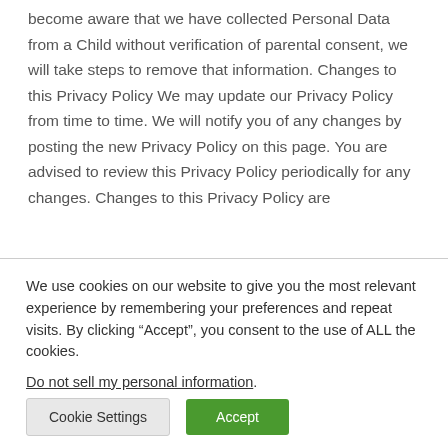become aware that we have collected Personal Data from a Child without verification of parental consent, we will take steps to remove that information. Changes to this Privacy Policy We may update our Privacy Policy from time to time. We will notify you of any changes by posting the new Privacy Policy on this page. You are advised to review this Privacy Policy periodically for any changes. Changes to this Privacy Policy are
We use cookies on our website to give you the most relevant experience by remembering your preferences and repeat visits. By clicking “Accept”, you consent to the use of ALL the cookies.
Do not sell my personal information.
Cookie Settings  Accept